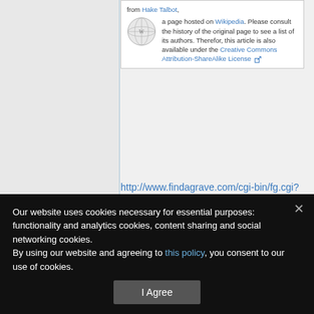from Hake Talbot, a page hosted on Wikipedia. Please consult the history of the original page to see a list of its authors. Therefor, this article is also available under the Creative Commons Attribution-ShareAlike License
http://www.findagrave.com/cgi-bin/fg.cgi?page=gr&GSln=nelms&GSfn=henning&GSb
Categories: Biographies | NeedBioPic | 1900 births | 1986 deaths | Resting place | Reused content from Wikimedia projects
Our website uses cookies necessary for essential purposes: functionality and analytics cookies, content sharing and social networking cookies. By using our website and agreeing to this policy, you consent to our use of cookies.
I Agree